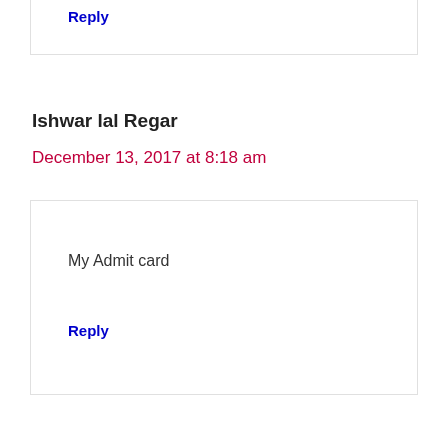Reply
Ishwar lal Regar
December 13, 2017 at 8:18 am
My Admit card
Reply